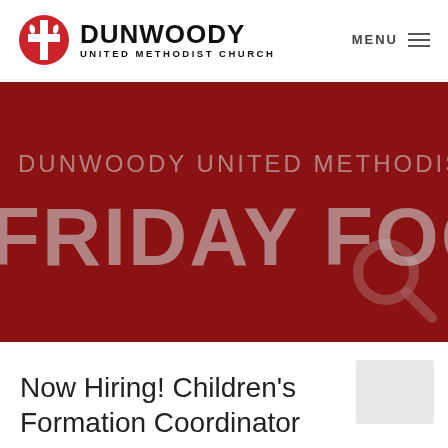[Figure (logo): Dunwoody United Methodist Church logo with red cross/flame symbol and bold black text]
[Figure (screenshot): Dark red banner with large light gray text reading 'DUNWOODY UNITED METHODIST' on top line and 'FRIDAY FOO' (partially cropped) on bottom, with a search/magnifying glass icon on the right]
Now Hiring! Children's Formation Coordinator